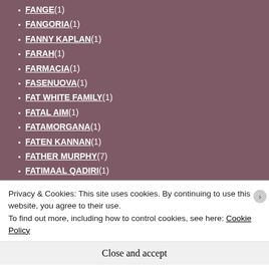FANGE (1)
FANGORIA (1)
FANNY KAPLAN (1)
FARAH (1)
FARMACIA (1)
FASENUOVA (1)
FAT WHITE FAMILY (1)
FATAL AIM (1)
FATAMORGANA (1)
FATEN KANNAN (1)
FATHER MURPHY (7)
FATIMAAL QADIRI (1)
FAUX FEROCIOUS (1)
FAZI (2)
FÖDD DÖD (1)
FÖLLAKZOID (2)
Privacy & Cookies: This site uses cookies. By continuing to use this website, you agree to their use. To find out more, including how to control cookies, see here: Cookie Policy
Close and accept